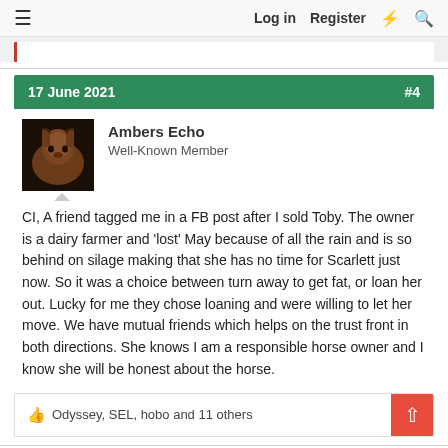≡  Log in  Register  ⚡  🔍
17 June 2021  #4
[Figure (photo): Avatar photo of a brown horse with a dark background, used as user profile picture for Ambers Echo]
Ambers Echo
Well-Known Member
CI, A friend tagged me in a FB post after I sold Toby. The owner is a dairy farmer and 'lost' May because of all the rain and is so behind on silage making that she has no time for Scarlett just now. So it was a choice between turn away to get fat, or loan her out. Lucky for me they chose loaning and were willing to let her move. We have mutual friends which helps on the trust front in both directions. She knows I am a responsible horse owner and I know she will be honest about the horse.
👍 Odyssey, SEL, hobo and 11 others